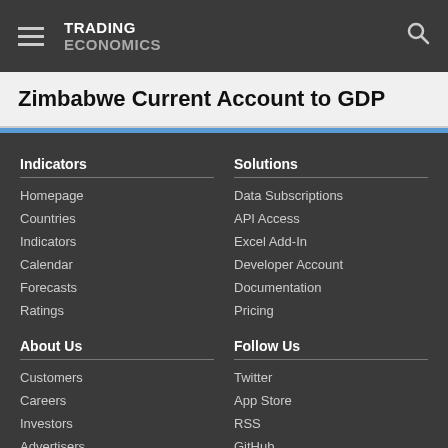TRADING ECONOMICS
Zimbabwe Current Account to GDP
Indicators
Homepage
Countries
Indicators
Calendar
Forecasts
Ratings
Solutions
Data Subscriptions
API Access
Excel Add-In
Developer Account
Documentation
Pricing
About Us
Customers
Careers
Investors
Advertisers
About us
Follow Us
Twitter
App Store
RSS
GitHub
Privacy